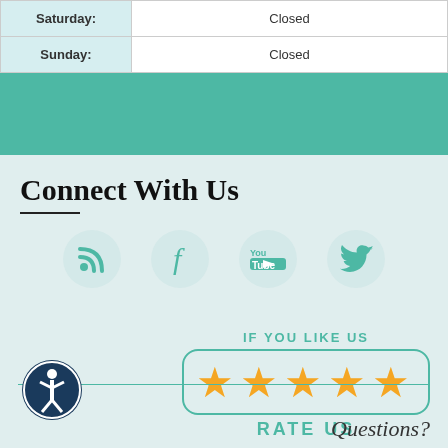| Day | Hours |
| --- | --- |
| Saturday: | Closed |
| Sunday: | Closed |
Connect With Us
[Figure (infographic): Four social media icons in teal circles: RSS feed, Facebook, YouTube, Twitter]
[Figure (infographic): IF YOU LIKE US - five gold stars in a rounded teal border - RATE US]
[Figure (infographic): Accessibility icon: person in circle with dark blue background]
Questions?